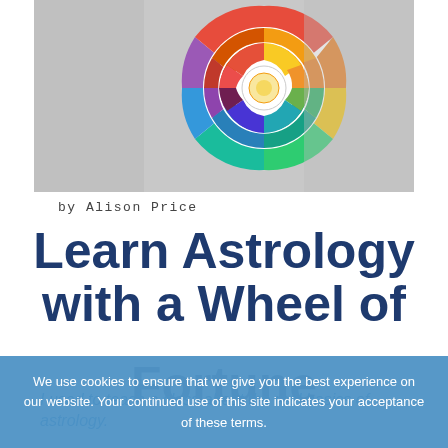[Figure (illustration): A colorful astrological wheel of fortune chart displayed on what appears to be a fabric or tote bag, with multiple concentric colored rings representing zodiac signs, planets, and astrological data.]
by Alison Price
Learn Astrology with a Wheel of Fortune
We use cookies to ensure that we give you the best experience on our website. Your continued use of this site indicates your acceptance of these terms.
I used to teach a class about the real basics of astrology.